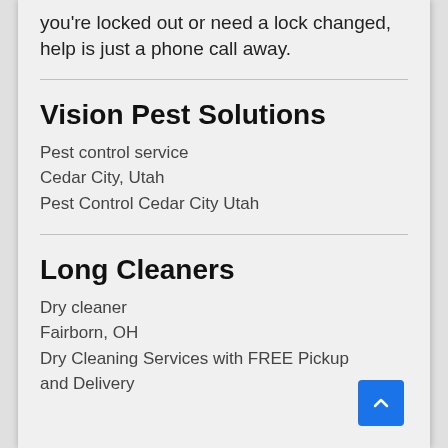you're locked out or need a lock changed, help is just a phone call away.
Vision Pest Solutions
Pest control service
Cedar City, Utah
Pest Control Cedar City Utah
Long Cleaners
Dry cleaner
Fairborn, OH
Dry Cleaning Services with FREE Pickup and Delivery